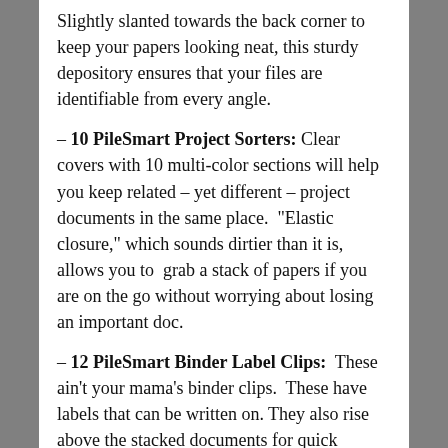Slightly slanted towards the back corner to keep your papers looking neat, this sturdy depository ensures that your files are identifiable from every angle.
– 10 PileSmart Project Sorters: Clear covers with 10 multi-color sections will help you keep related – yet different – project documents in the same place.  "Elastic closure," which sounds dirtier than it is, allows you to  grab a stack of papers if you are on the go without worrying about losing an important doc.
– 12 PileSmart Binder Label Clips:  These ain't your mama's binder clips.  These have labels that can be written on. They also rise above the stacked documents for quick...